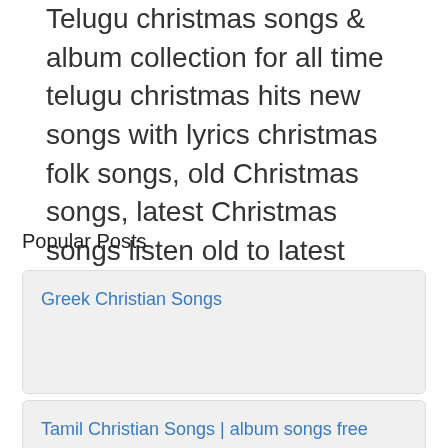Telugu christmas songs & album collection for all time telugu christmas hits new songs with lyrics christmas folk songs, old Christmas songs, latest Christmas songs listen old to latest christmas songs carols audio list compilation free mp3 download jingle bells
Popular Posts
Greek Christian Songs
Tamil Christian Songs | album songs free